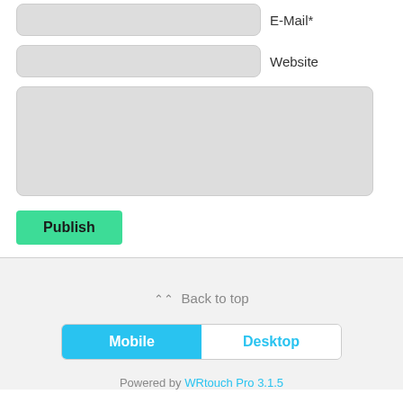E-Mail*
Website
Publish
Back to top
Mobile
Desktop
Powered by WRtouch Pro 3.1.5